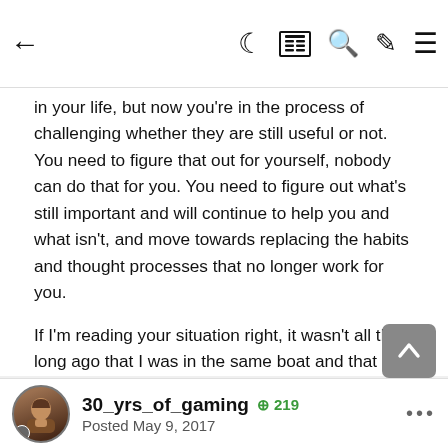← (navigation) | moon icon | news icon | search icon | edit icon | menu icon
in your life, but now you're in the process of challenging whether they are still useful or not. You need to figure that out for yourself, nobody can do that for you. You need to figure out what's still important and will continue to help you and what isn't, and move towards replacing the habits and thought processes that no longer work for you.
If I'm reading your situation right, it wasn't all that long ago that I was in the same boat and that time was really hard for me as well. I really feel for you. But I want you to know that as long as you don't give up and keep moving towards that ideal version of you, success is inevitable. And it will be worth it.
2 months later...
30_yrs_of_gaming   ⊕ 219
Posted May 9, 2017